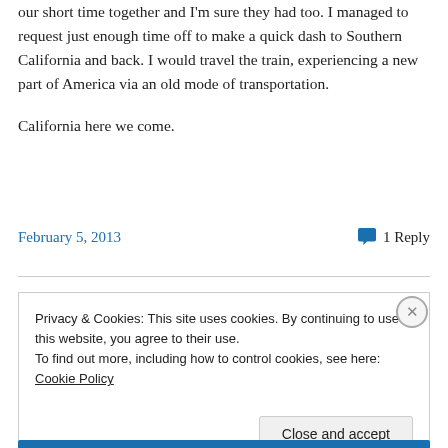our short time together and I'm sure they had too. I managed to request just enough time off to make a quick dash to Southern California and back. I would travel the train, experiencing a new part of America via an old mode of transportation.

California here we come.
February 5, 2013    1 Reply
Privacy & Cookies: This site uses cookies. By continuing to use this website, you agree to their use.
To find out more, including how to control cookies, see here: Cookie Policy
Close and accept